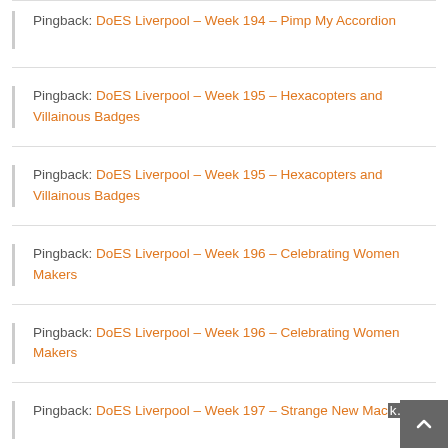Pingback: DoES Liverpool – Week 194 – Pimp My Accordion
Pingback: DoES Liverpool – Week 195 – Hexacopters and Villainous Badges
Pingback: DoES Liverpool – Week 195 – Hexacopters and Villainous Badges
Pingback: DoES Liverpool – Week 196 – Celebrating Women Makers
Pingback: DoES Liverpool – Week 196 – Celebrating Women Makers
Pingback: DoES Liverpool – Week 197 – Strange New Mach…nd